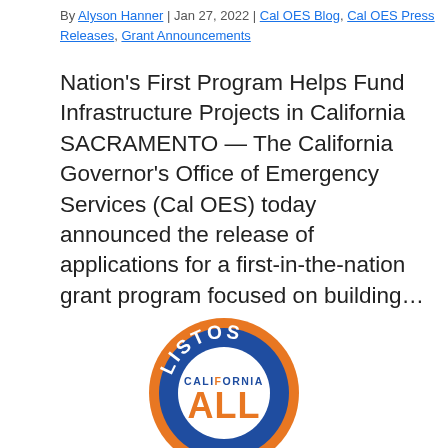By Alyson Hanner | Jan 27, 2022 | Cal OES Blog, Cal OES Press Releases, Grant Announcements
Nation's First Program Helps Fund Infrastructure Projects in California SACRAMENTO — The California Governor's Office of Emergency Services (Cal OES) today announced the release of applications for a first-in-the-nation grant program focused on building...
[Figure (logo): Listos California ALL logo — circular badge with blue background, orange ring, white text 'LISTOS' at top, 'CALIFORNIA' in blue on white center, 'ALL' in large orange letters at bottom of center circle]